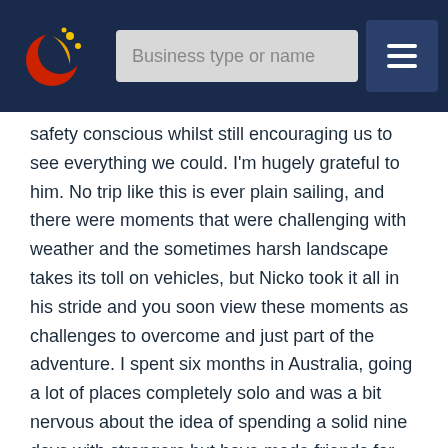[Figure (screenshot): Mobile app header bar with a logo (crescent moon with stars in red/gold on dark blue background), a search input field with placeholder text 'Business type or name', and a hamburger menu button on a dark navy background.]
safety conscious whilst still encouraging us to see everything we could. I'm hugely grateful to him. No trip like this is ever plain sailing, and there were moments that were challenging with weather and the sometimes harsh landscape takes its toll on vehicles, but Nicko took it all in his stride and you soon view these moments as challenges to overcome and just part of the adventure. I spent six months in Australia, going a lot of places completely solo and was a bit nervous about the idea of spending a solid nine days with strangers but have made friends for life and spent my two days post tour in Broome relaxing with them in the beautiful sun. I honestly can't recommend this tour enough and I am missing it all already